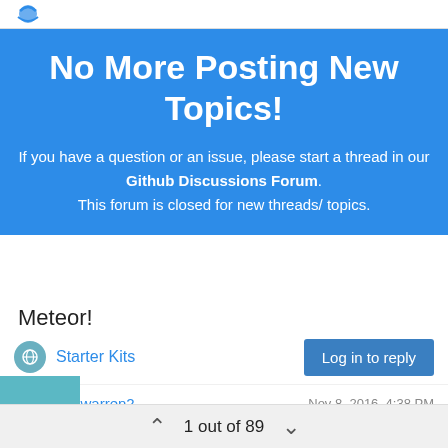No More Posting New Topics!
If you have a question or an issue, please start a thread in our Github Discussions Forum. This forum is closed for new threads/ topics.
Meteor!
Starter Kits
Log in to reply
mwarren2   Nov 8, 2016, 4:38 PM
1 out of 89